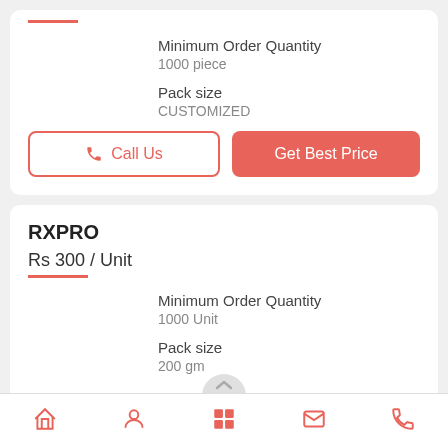Minimum Order Quantity
1000 piece
Pack size
CUSTOMIZED
Call Us
Get Best Price
RXPRO
Rs 300 / Unit
Minimum Order Quantity
1000 Unit
Pack size
200 gm